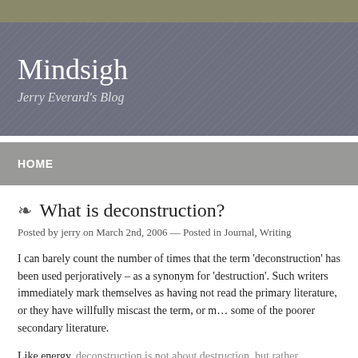Mindsigh
Jerry Everard's Blog
HOME
❧ What is deconstruction?
Posted by jerry on March 2nd, 2006 — Posted in Journal, Writing
I can barely count the number of times that the term 'deconstruction' has been used perjoratively – as a synonym for 'destruction'. Such writers immediately mark themselves as having not read the primary literature, or they have willfully miscast the term, or m… some of the poorer secondary literature.
Like energy, deconstruction is not about destruction, but rather, reconstrual (see m… on Derrida here). Deconstruction offers a tool that is more sophisticated than just n… seemingly 'natural' binary hierarchies. It offers a way of making explicit the conditi…